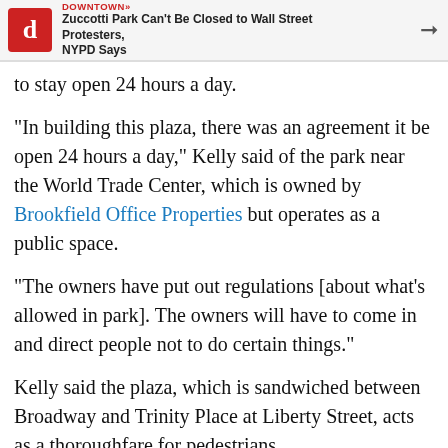DOWNTOWN» Zuccotti Park Can't Be Closed to Wall Street Protesters, NYPD Says
to stay open 24 hours a day.
"In building this plaza, there was an agreement it be open 24 hours a day," Kelly said of the park near the World Trade Center, which is owned by Brookfield Office Properties but operates as a public space.
"The owners have put out regulations [about what's allowed in park]. The owners will have to come in and direct people not to do certain things."
Kelly said the plaza, which is sandwiched between Broadway and Trinity Place at Liberty Street, acts as a thoroughfare for pedestrians.